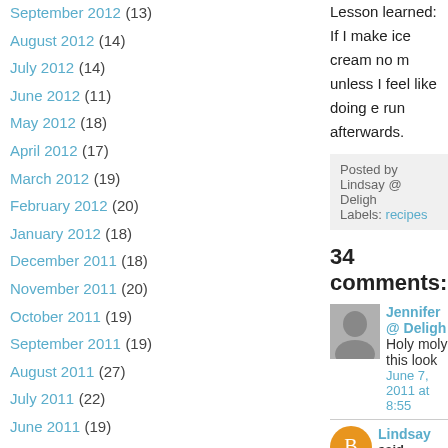September 2012 (13)
August 2012 (14)
July 2012 (14)
June 2012 (11)
May 2012 (18)
April 2012 (17)
March 2012 (19)
February 2012 (20)
January 2012 (18)
December 2011 (18)
November 2011 (20)
October 2011 (19)
September 2011 (19)
August 2011 (27)
July 2011 (22)
June 2011 (19)
May 2011 (18)
April 2011 (12)
March 2011 (8)
Lesson learned:
If I make ice cream no m unless I feel like doing e run afterwards.
Posted by Lindsay @ Deligh
Labels: recipes
34 comments:
Jennifer @ Deligh
Holy moly this look
June 7, 2011 at 8:55
Lindsay said...
Looks like I will be
June 7, 2011 at